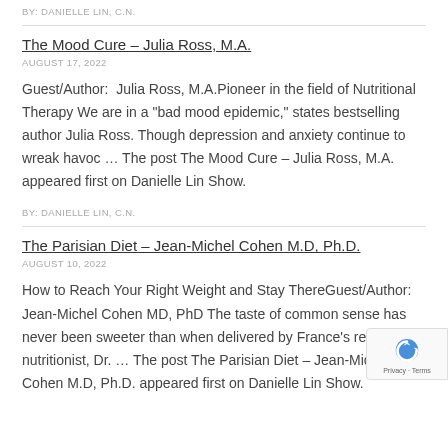BY: DANIELLE LIN, C.N.
The Mood Cure – Julia Ross, M.A.
AUGUST 17, 2022
Guest/Author:  Julia Ross, M.A.Pioneer in the field of Nutritional Therapy We are in a "bad mood epidemic," states bestselling author Julia Ross. Though depression and anxiety continue to wreak havoc … The post The Mood Cure – Julia Ross, M.A. appeared first on Danielle Lin Show.
BY: DANIELLE LIN, C.N.
The Parisian Diet – Jean-Michel Cohen M.D, Ph.D.
AUGUST 10, 2022
How to Reach Your Right Weight and Stay ThereGuest/Author: Jean-Michel Cohen MD, PhD The taste of common sense has never been sweeter than when delivered by France's renowned nutritionist, Dr. … The post The Parisian Diet – Jean-Michel Cohen M.D, Ph.D. appeared first on Danielle Lin Show.